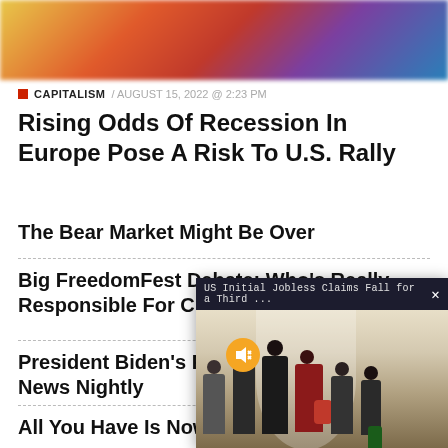[Figure (photo): Blurred colorful background image at top of page]
CAPITALISM / AUGUST 15, 2022 @ 2:23 PM
Rising Odds Of Recession In Europe Pose A Risk To U.S. Rally
The Bear Market Might Be Over
Big FreedomFest Debate: Who's Really Responsible For Chronic Deficits?
President Biden's Propo... For EWTN News Nightly
[Figure (screenshot): Popup overlay showing 'US Initial Jobless Claims Fall for a Third ...' with a close button and an image of people standing in a line (job seekers), with a mute button overlay]
All You Have Is Now